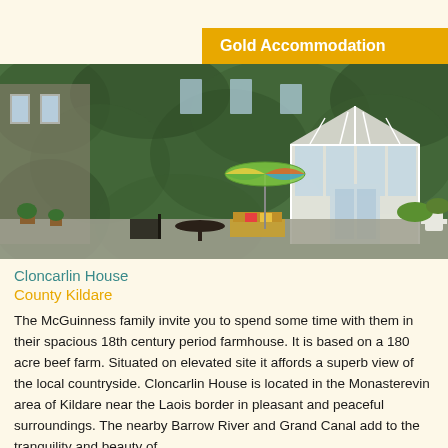Gold Accommodation
[Figure (photo): Exterior of Cloncarlin House, a large stone farmhouse covered in ivy with a white conservatory, outdoor furniture, and a colourful umbrella in the garden.]
Cloncarlin House
County Kildare
The McGuinness family invite you to spend some time with them in their spacious 18th century period farmhouse. It is based on a 180 acre beef farm. Situated on elevated site it affords a superb view of the local countryside. Cloncarlin House is located in the Monasterevin area of Kildare near the Laois border in pleasant and peaceful surroundings. The nearby Barrow River and Grand Canal add to the tranquility and beauty of